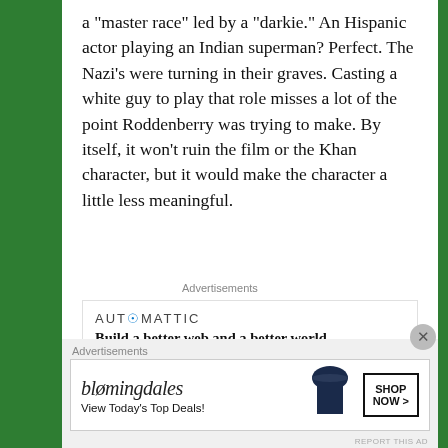a “master race” led by a “darkie.” An Hispanic actor playing an Indian superman? Perfect. The Nazi’s were turning in their graves. Casting a white guy to play that role misses a lot of the point Roddenberry was trying to make. By itself, it won’t ruin the film or the Khan character, but it would make the character a little less meaningful.
[Figure (other): Automattic advertisement: logo 'AUTOMATTIC' and tagline 'Build a better web and a better world.']
Follow me @GSLLC
Follow John @kesseljunkie
[Figure (other): Bloomingdale's advertisement banner: 'bloomingdales - View Today’s Top Deals!' with SHOP NOW button and woman in hat image]